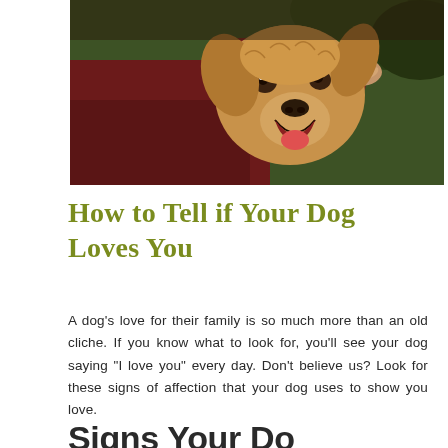[Figure (photo): A golden retriever dog being hugged by a person wearing a dark red/maroon shirt, photographed outdoors with green foliage in the background. The dog is smiling/panting happily.]
How to Tell if Your Dog Loves You
A dog’s love for their family is so much more than an old cliche. If you know what to look for, you’ll see your dog saying “I love you” every day. Don’t believe us? Look for these signs of affection that your dog uses to show you love.
Signs Your Do...